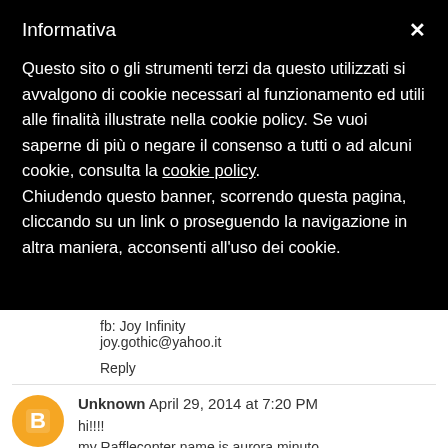Informativa
Questo sito o gli strumenti terzi da questo utilizzati si avvalgono di cookie necessari al funzionamento ed utili alle finalità illustrate nella cookie policy. Se vuoi saperne di più o negare il consenso a tutti o ad alcuni cookie, consulta la cookie policy. Chiudendo questo banner, scorrendo questa pagina, cliccando su un link o proseguendo la navigazione in altra maniera, acconsenti all'uso dei cookie.
fb: Joy Infinity
joy.gothic@yahoo.it
Reply
Unknown  April 29, 2014 at 7:20 PM
hi!!!!
my Rafflecopter name is aurora minuto
fb,gfc,g+, pinterest and bloglovin aurora minuto